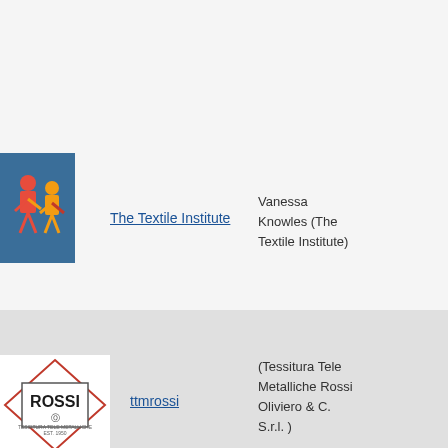[Figure (logo): The Textile Institute logo — colorful figures on blue background]
The Textile Institute
Vanessa Knowles (The Textile Institute)
[Figure (logo): Rossi logo — diamond shape with ROSSI text and rectangle border]
ttmrossi
(Tessitura Tele Metalliche Rossi Oliviero & C. S.r.l. )